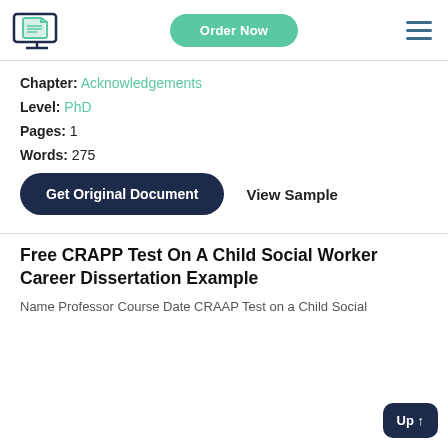[Figure (logo): Document writing service logo with a monitor and scroll icon]
Order Now
Chapter: Acknowledgements
Level: PhD
Pages: 1
Words: 275
Get Original Document
View Sample
Free CRAPP Test On A Child Social Worker Career Dissertation Example
Name Professor Course Date CRAAP Test on a Child Social